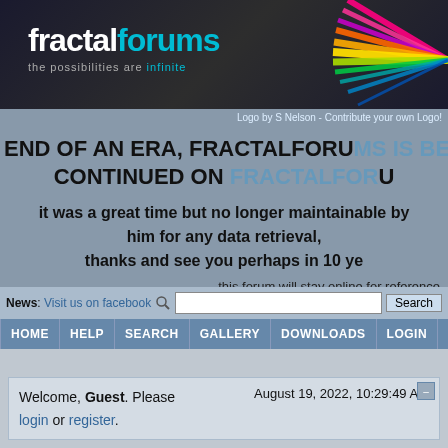[Figure (logo): Fractal Forums banner with logo text 'fractalforums - the possibilities are infinite' on dark background with colorful ray graphic on right]
Logo by S Nelson - Contribute your own Logo!
END OF AN ERA, FRACTALFORUMS IS BEING CONTINUED ON FRACTALFORUMS
it was a great time but no longer maintainable by him for any data retrieval, thanks and see you perhaps in 10 ye...
this forum will stay online for reference
News: Visit us on facebook
HOME  HELP  SEARCH  GALLERY  DOWNLOADS  LOGIN  REGISTER
Welcome, Guest. Please login or register.  August 19, 2022, 10:29:49 AM